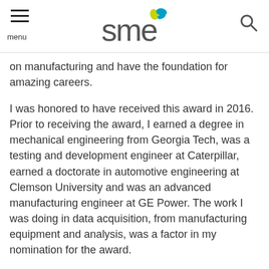SME menu [logo] search
on manufacturing and have the foundation for amazing careers.
I was honored to have received this award in 2016. Prior to receiving the award, I earned a degree in mechanical engineering from Georgia Tech, was a testing and development engineer at Caterpillar, earned a doctorate in automotive engineering at Clemson University and was an advanced manufacturing engineer at GE Power. The work I was doing in data acquisition, from manufacturing equipment and analysis, was a factor in my nomination for the award.
Since receiving the award, I have been an industry solution director at GE Digital, and I am currently the vice president of engineering at a startup